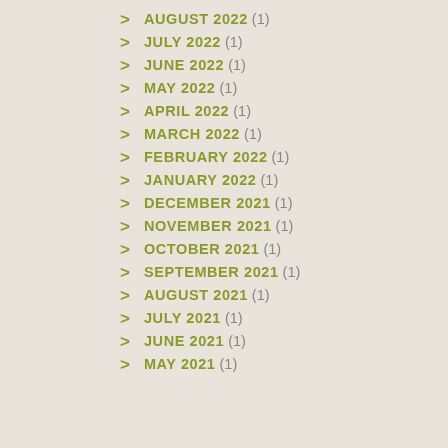AUGUST 2022 (1)
JULY 2022 (1)
JUNE 2022 (1)
MAY 2022 (1)
APRIL 2022 (1)
MARCH 2022 (1)
FEBRUARY 2022 (1)
JANUARY 2022 (1)
DECEMBER 2021 (1)
NOVEMBER 2021 (1)
OCTOBER 2021 (1)
SEPTEMBER 2021 (1)
AUGUST 2021 (1)
JULY 2021 (1)
JUNE 2021 (1)
MAY 2021 (1)